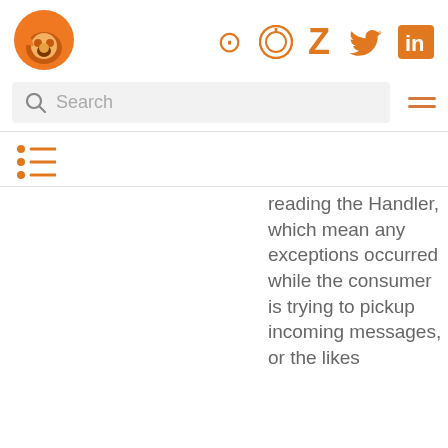[Figure (logo): Orange fox/wolf logo icon]
[Figure (infographic): Social icons: GitHub, Zulip, Twitter, LinkedIn in orange]
[Figure (screenshot): Search bar with magnifying glass icon and placeholder text 'Search', and hamburger menu icon]
[Figure (infographic): List/breadcrumb icon in orange]
reading the Handler, which mean any exceptions occurred while the consumer is trying to pickup incoming messages, or the likes